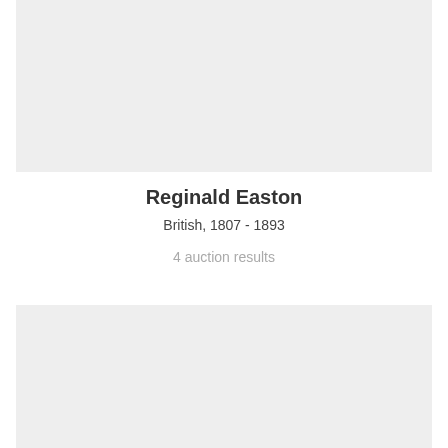[Figure (other): Gray placeholder image block at top]
Reginald Easton
British, 1807 - 1893
4 auction results
[Figure (other): Gray placeholder image block at bottom]